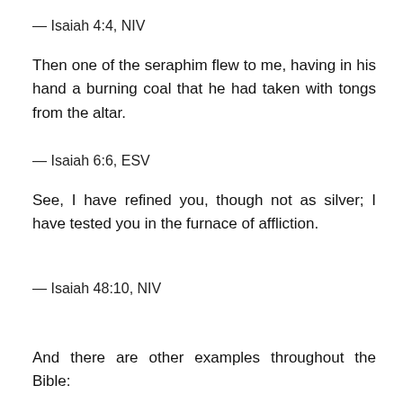— Isaiah 4:4, NIV
Then one of the seraphim flew to me, having in his hand a burning coal that he had taken with tongs from the altar.
— Isaiah 6:6, ESV
See, I have refined you, though not as silver; I have tested you in the furnace of affliction.
— Isaiah 48:10, NIV
And there are other examples throughout the Bible: